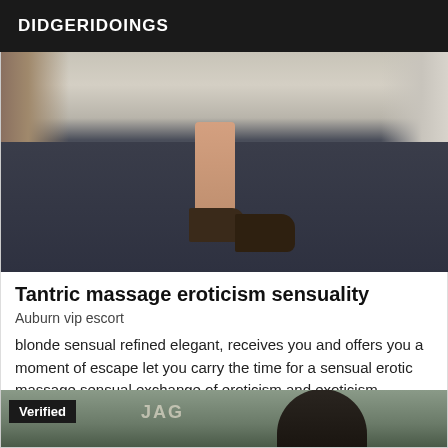DIDGERIDOINGS
[Figure (photo): Photo of someone's legs and feet wearing high heels standing in a hallway with dark blue carpet]
Tantric massage eroticism sensuality
Auburn vip escort
blonde sensual refined elegant, receives you and offers you a moment of escape let you carry the time for a sensual erotic massage sensual exchange of eroticism and exoticism sensuality
[Figure (photo): Partially visible photo of a person with dark hair with a Verified badge overlay and partial text reading JAG]